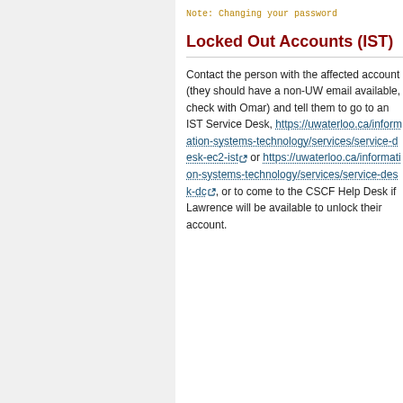Note: Changing your password
Locked Out Accounts (IST)
Contact the person with the affected account (they should have a non-UW email available, check with Omar) and tell them to go to an IST Service Desk, https://uwaterloo.ca/information-systems-technology/services/service-desk-ec2-ist or https://uwaterloo.ca/information-systems-technology/services/service-desk-dc, or to come to the CSCF Help Desk if Lawrence will be available to unlock their account.